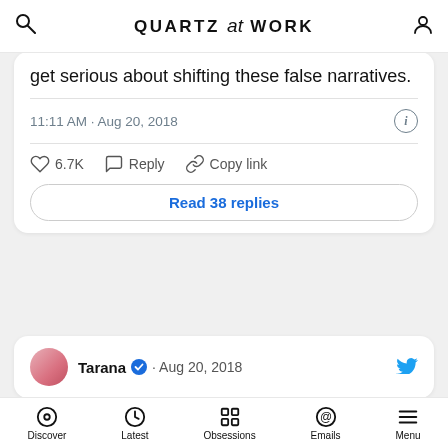QUARTZ at WORK
get serious about shifting these false narratives.
11:11 AM · Aug 20, 2018
6.7K   Reply   Copy link
Read 38 replies
Tarana · Aug 20, 2018
Discover   Latest   Obsessions   Emails   Menu